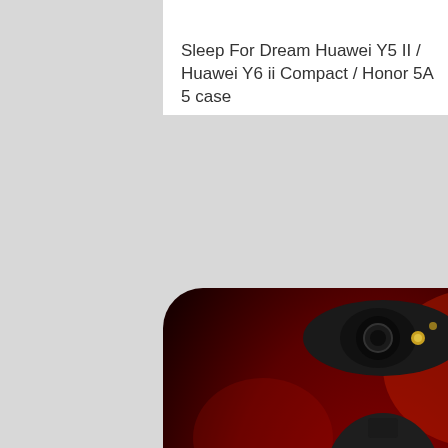23.27 $
Sleep For Dream Huawei Y5 II / Huawei Y6 ii Compact / Honor 5A 5 case
[Figure (photo): Photo of a phone case for Huawei Y5 II with a black knight/warrior character (Fortnite Black Knight skin) with crossed arms on a dark red background, shown fitted on a phone shape with a camera cutout at the top.]